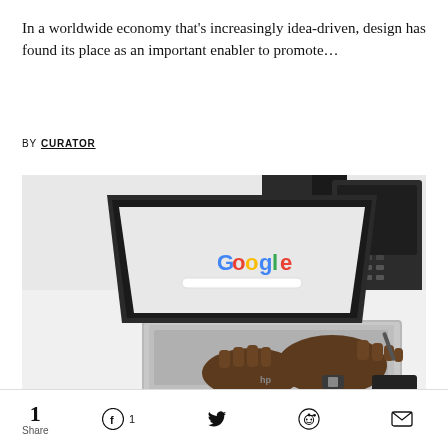In a worldwide economy that's increasingly idea-driven, design has found its place as an important enabler to promote…
BY CURATOR
[Figure (photo): Person's hands typing on an HP laptop with Google homepage displayed on screen, with a desk phone in the background on a white desk]
1 Share  [Facebook] 1  [Twitter]  [Reddit]  [Email]